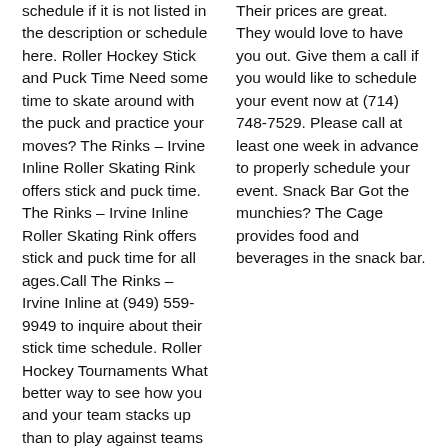schedule if it is not listed in the description or schedule here. Roller Hockey Stick and Puck Time Need some time to skate around with the puck and practice your moves? The Rinks – Irvine Inline Roller Skating Rink offers stick and puck time. The Rinks – Irvine Inline Roller Skating Rink offers stick and puck time for all ages.Call The Rinks – Irvine Inline at (949) 559-9949 to inquire about their stick time schedule. Roller Hockey Tournaments What better way to see how you and your team stacks up than to play against teams outside your normal leagues? The Rinks – Irvine Inline Roller Skating Rink hosts roller hockey tournaments for all ages.at their
Their prices are great. They would love to have you out. Give them a call if you would like to schedule your event now at (714) 748-7529. Please call at least one week in advance to properly schedule your event. Snack Bar Got the munchies? The Cage provides food and beverages in the snack bar.